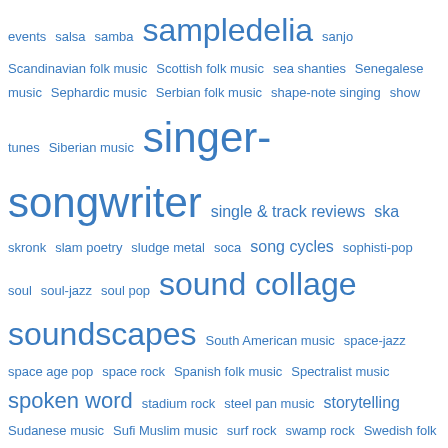[Figure (other): Tag cloud of music genres and categories in varying font sizes, all in blue, on white background. Terms include: events, salsa, samba, sampledelia, sanjo, Scandinavian folk music, Scottish folk music, sea shanties, Senegalese music, Sephardic music, Serbian folk music, shape-note singing, show tunes, Siberian music, singer-songwriter, single & track reviews, ska, skronk, slam poetry, sludge metal, soca, song cycles, sophisti-pop, soul, soul-jazz, soul pop, sound collage, soundscapes, South American music, space-jazz, space age pop, space rock, Spanish folk music, Spectralist music, spoken word, stadium rock, steel pan music, storytelling, Sudanese music, Sufi Muslim music, surf rock, swamp rock, Swedish folk music, swing, synth pop, Sámi folk music, tango, tango nuevo, tape loops, tech metal, techno, theatre music, thrash metal, throat singing, tie-ins, Transylvanian folk music, trash-blues, trash-jazz, trip hop, Turkish folk music, turntablism, Uncategorized, Viking metal, vocal music, West African music, West Coast classical music, world & indigenous music, worldbeat, yäämei, yoik, Zeuhl]